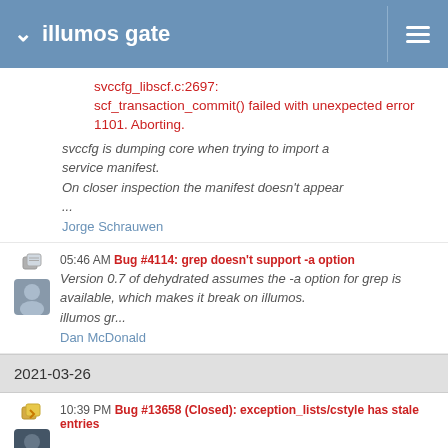illumos gate
svccfg_libscf.c:2697: scf_transaction_commit() failed with unexpected error 1101. Aborting.
svccfg is dumping core when trying to import a service manifest.
On closer inspection the manifest doesn't appear
...
Jorge Schrauwen
05:46 AM Bug #4114: grep doesn't support -a option
Version 0.7 of dehydrated assumes the -a option for grep is available, which makes it break on illumos.
illumos gr...
Dan McDonald
2021-03-26
10:39 PM Bug #13658 (Closed): exception_lists/cstyle has stale entries